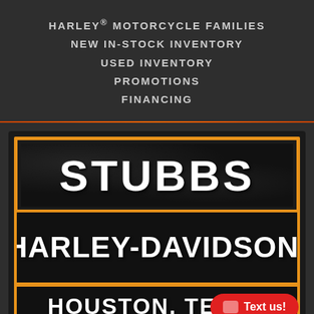HARLEY® MOTORCYCLE FAMILIES
NEW IN-STOCK INVENTORY
USED INVENTORY
PROMOTIONS
FINANCING
[Figure (logo): Stubbs Harley-Davidson Houston, Texas dealer logo with orange border frames on black distressed background. Three horizontal bands: top reads STUBBS, middle reads HARLEY-DAVIDSON with registration mark, bottom reads HOUSTON, TEXAS. A red pill-shaped Text us! button overlays the bottom right corner.]